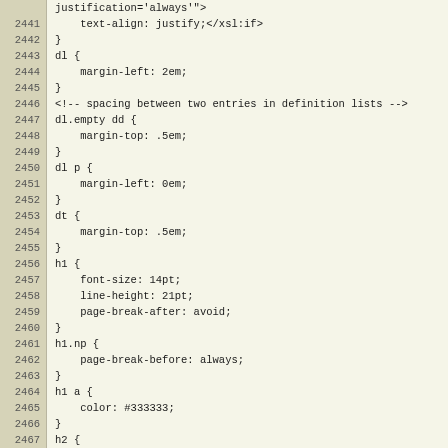[Figure (screenshot): Code editor screenshot showing CSS/XSL stylesheet code with line numbers 2441-2471. Lines show CSS rules for dl, dl.empty dd, dl p, dt, h1, h1.np, h1 a, h2 elements, plus an XSL comment. Line numbers appear in a tan/khaki background column on the left, code appears on a light yellow-white background on the right.]